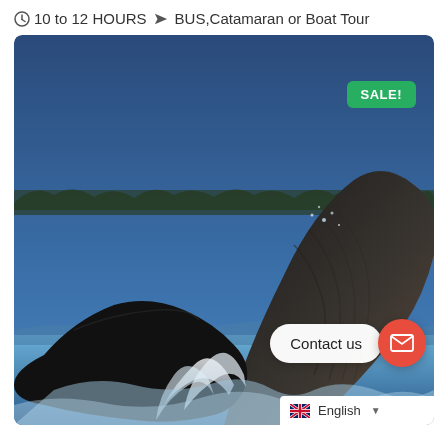🕐 10 to 12 HOURS ✈ BUS,Catamaran or Boat Tour
[Figure (photo): A humpback whale breaching the ocean surface, with dark blue water and forested shoreline in the background. A green 'SALE!' badge is in the upper right corner of the image. A white 'Contact us' button and a red circular email icon button appear in the lower right. An English language selector is at the bottom right.]